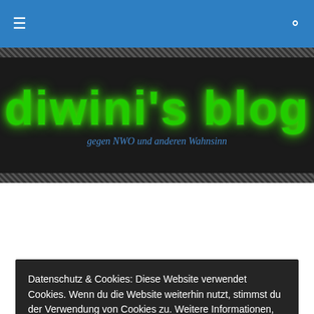diwini's blog — gegen NWO und anderen Wahnsinn
TAGGED WITH HÄNDLER DES TODES
Carl Bildt's Millions
posted by diwini
Datenschutz & Cookies: Diese Website verwendet Cookies. Wenn du die Website weiterhin nutzt, stimmst du der Verwendung von Cookies zu. Weitere Informationen, beispielsweise zur Kontrolle von Cookies, findest du hier: Unsere Cookie-Richtlinie
Hau wech!